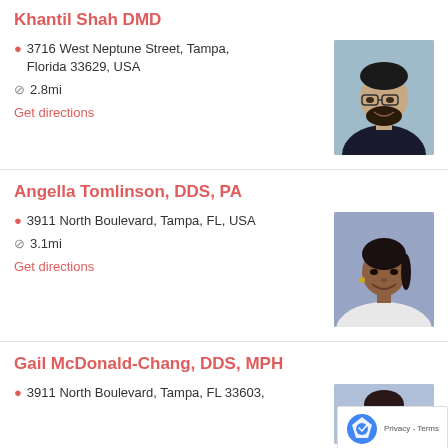Khantil Shah DMD
3716 West Neptune Street, Tampa, Florida 33629, USA
2.8mi
Get directions
[Figure (photo): Professional photo of Khantil Shah DMD, a man with glasses and beard wearing dark scrubs]
Angella Tomlinson, DDS, PA
3911 North Boulevard, Tampa, FL, USA
3.1mi
Get directions
[Figure (photo): Professional photo of Angella Tomlinson DDS PA, a woman smiling wearing white coat]
Gail McDonald-Chang, DDS, MPH
3911 North Boulevard, Tampa, FL 33603,